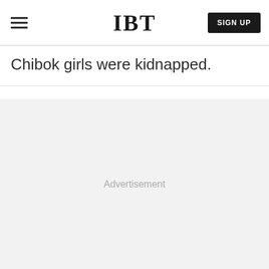IBT
Chibok girls were kidnapped.
[Figure (other): Advertisement placeholder area with light grey background and centered 'Advertisement' label text]